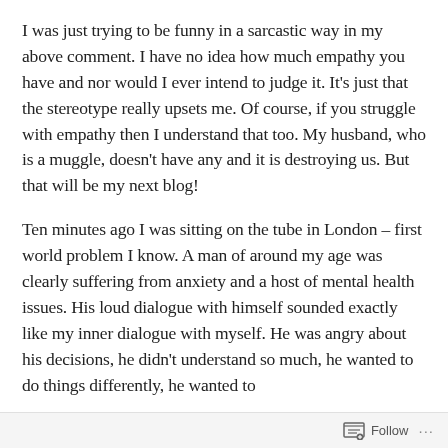I was just trying to be funny in a sarcastic way in my above comment. I have no idea how much empathy you have and nor would I ever intend to judge it. It's just that the stereotype really upsets me. Of course, if you struggle with empathy then I understand that too. My husband, who is a muggle, doesn't have any and it is destroying us. But that will be my next blog!
Ten minutes ago I was sitting on the tube in London – first world problem I know. A man of around my age was clearly suffering from anxiety and a host of mental health issues. His loud dialogue with himself sounded exactly like my inner dialogue with myself. He was angry about his decisions, he didn't understand so much, he wanted to do things differently, he wanted to
Follow ···